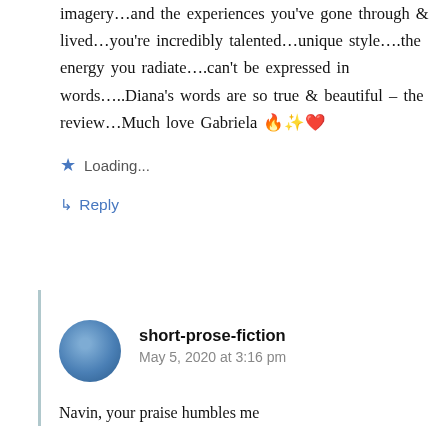imagery…and the experiences you've gone through & lived…you're incredibly talented…unique style….the energy you radiate….can't be expressed in words…..Diana's words are so true & beautiful – the review…Much love Gabriela 🔥✨❤️
Loading...
↳ Reply
short-prose-fiction
May 5, 2020 at 3:16 pm
Navin, your praise humbles me